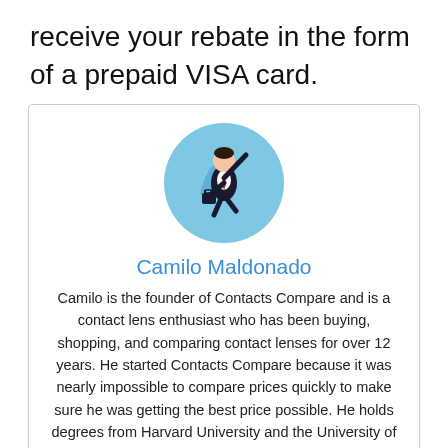receive your rebate in the form of a prepaid VISA card.
[Figure (illustration): Circular illustration of a businessman in a superhero cape flying, on a light blue background]
Camilo Maldonado
Camilo is the founder of Contacts Compare and is a contact lens enthusiast who has been buying, shopping, and comparing contact lenses for over 12 years. He started Contacts Compare because it was nearly impossible to compare prices quickly to make sure he was getting the best price possible. He holds degrees from Harvard University and the University of Pennsylvania. His favorite contact lens